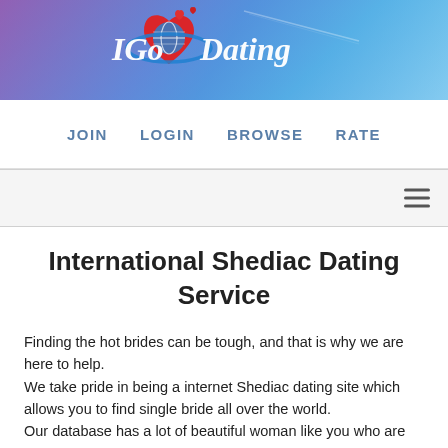[Figure (logo): IGoD Dating logo with red heart, world map globe, blue orbital ring, and stylized text 'IGo Dating' in white italic font on a purple-blue gradient banner background]
JOIN   LOGIN   BROWSE   RATE
[Figure (other): Mobile hamburger menu bar with three horizontal lines icon on right side, light gray background]
International Shediac Dating Service
Finding the hot brides can be tough, and that is why we are here to help.
We take pride in being a internet Shediac dating site which allows you to find single bride all over the world.
Our database has a lot of beautiful woman like you who are single and ready to mingle.
With so many easy girls on our platform, you sure can find the one